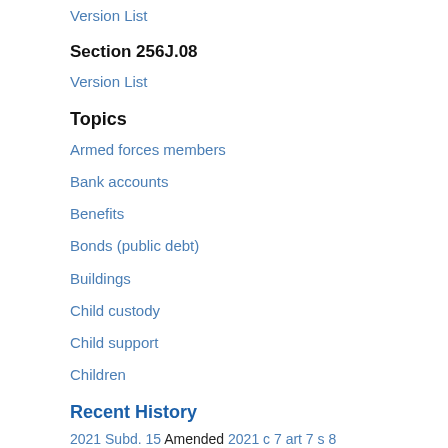Version List
Section 256J.08
Version List
Topics
Armed forces members
Bank accounts
Benefits
Bonds (public debt)
Buildings
Child custody
Child support
Children
Recent History
2021 Subd. 15 Amended 2021 c 7 art 7 s 8
2021 Subd. 21 Amended 2021 c 30 art 7 s 1
2021 Subd. 53 Amended 2021 c 7 art 7 s 9